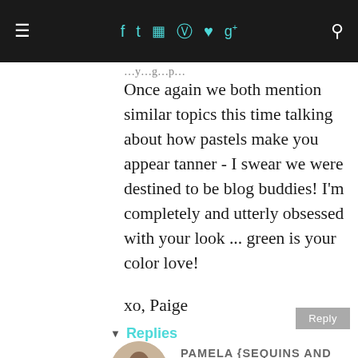≡  f  t  [instagram]  [pinterest]  [heart]  g+  [search]
Once again we both mention similar topics this time talking about how pastels make you appear tanner - I swear we were destined to be blog buddies! I'm completely and utterly obsessed with your look ... green is your color love!

xo, Paige
▾ Replies
PAMELA {SEQUINS AND SEA BREEZES}
March 27, 2014 at 6:08 PM